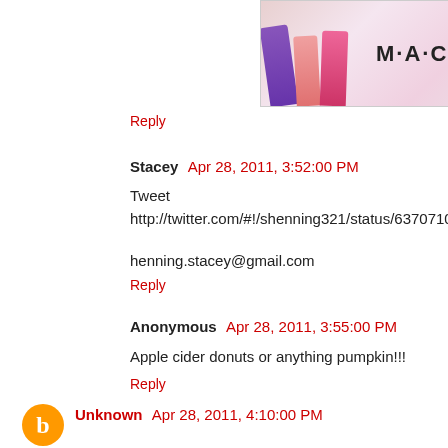[Figure (photo): MAC Cosmetics advertisement banner showing lipsticks in purple, pink, hot pink, and red colors with MAC logo and 'SHOP NOW' button]
Reply
Stacey  Apr 28, 2011, 3:52:00 PM
Tweet
http://twitter.com/#!/shenning321/status/63707105370181632

henning.stacey@gmail.com
Reply
Anonymous  Apr 28, 2011, 3:55:00 PM
Apple cider donuts or anything pumpkin!!!
Reply
Unknown  Apr 28, 2011, 4:10:00 PM